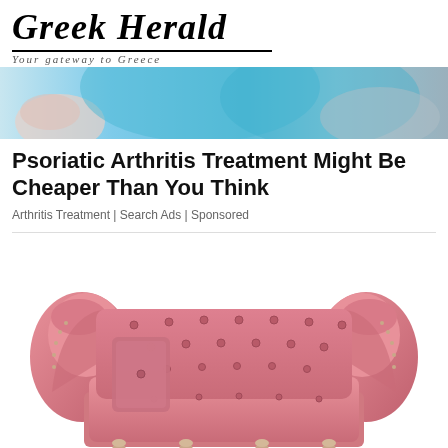Greek Herald — Your gateway to Greece
[Figure (photo): Partial view of a medical or health-related background image, showing light blue/teal tones suggesting a medical professional or patient setting]
Psoriatic Arthritis Treatment Might Be Cheaper Than You Think
Arthritis Treatment | Search Ads | Sponsored
[Figure (photo): A pink/rose colored Chesterfield-style loveseat sofa with tufted back, rolled arms, decorative pillow, and wooden legs, displayed on a white background]